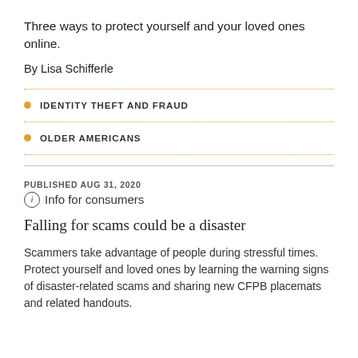Three ways to protect yourself and your loved ones online.
By Lisa Schifferle
IDENTITY THEFT AND FRAUD
OLDER AMERICANS
PUBLISHED AUG 31, 2020
ⓘ Info for consumers
Falling for scams could be a disaster
Scammers take advantage of people during stressful times. Protect yourself and loved ones by learning the warning signs of disaster-related scams and sharing new CFPB placemats and related handouts.